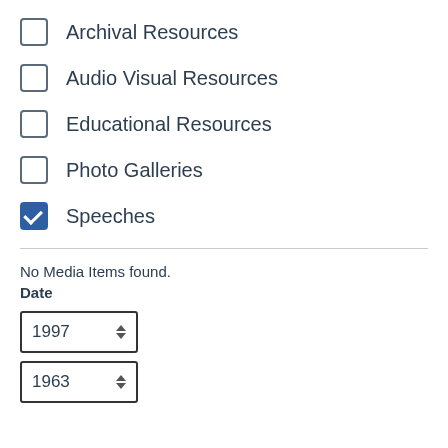Archival Resources
Audio Visual Resources
Educational Resources
Photo Galleries
Speeches
No Media Items found.
Date
1997
1963